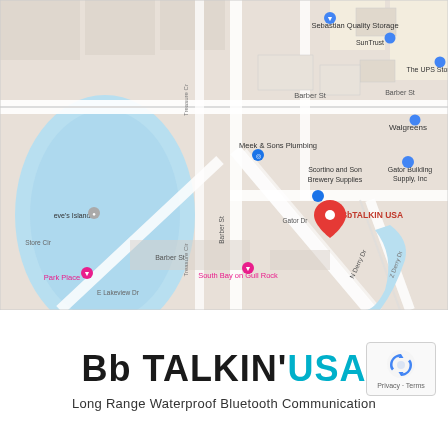[Figure (map): Google Maps screenshot showing the location of BbTALKIN USA on Barber St / Gator Dr area in Sebastian, Florida. Nearby landmarks include Sebastian Quality Storage, The UPS Store, SunTrust, Walgreens, Meek & Sons Plumbing, Scortino and Son Brewery Supplies, Gator Building Supply Inc, South Bay on Gull Rock, Park Place. A red location pin marks BbTALKIN USA.]
[Figure (logo): Bb TALKIN' USA logo in black and cyan text. Below: 'Long Range Waterproof Bluetooth Communication'. A reCAPTCHA badge is visible in the bottom right with Privacy - Terms text.]